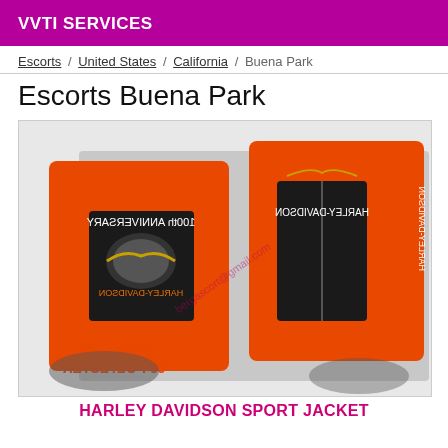VVTI SERVICES
Escorts / United States / California / Buena Park
Escorts Buena Park
[Figure (photo): Photo of orange and black Harley-Davidson sport jackets displayed on mannequins/motorcycle, text on jackets appears mirrored. Bottom left text reads '36 COTON 65 POLYESTER' (mirrored). Watermark text visible.]
HARLEY DAVIDSON SPORT JACKET